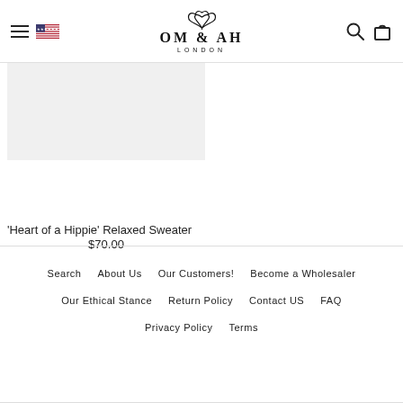Om & Ah London — navigation header with hamburger menu, US flag, logo, search and cart icons
[Figure (photo): Product image placeholder — light grey rectangle for 'Heart of a Hippie' Relaxed Sweater]
'Heart of a Hippie' Relaxed Sweater
$70.00
Search
About Us
Our Customers!
Become a Wholesaler
Our Ethical Stance
Return Policy
Contact US
FAQ
Privacy Policy
Terms